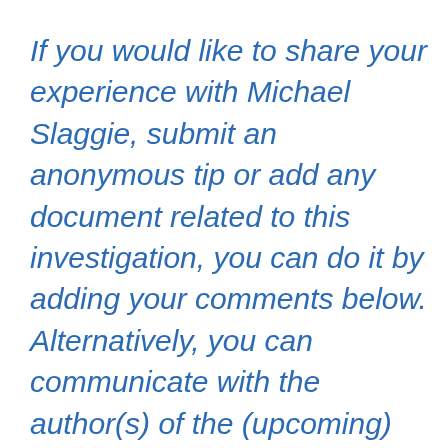If you would like to share your experience with Michael Slaggie, submit an anonymous tip or add any document related to this investigation, you can do it by adding your comments below. Alternatively, you can communicate with the author(s) of the (upcoming) report by sending a direct message to the Moderators. If you rather contact the researchers via email, please message us at info@gripeo.com and we'll put you in touch with them.